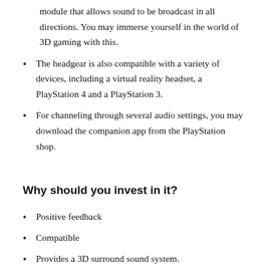module that allows sound to be broadcast in all directions. You may immerse yourself in the world of 3D gaming with this.
The headgear is also compatible with a variety of devices, including a virtual reality headset, a PlayStation 4 and a PlayStation 3.
For channeling through several audio settings, you may download the companion app from the PlayStation shop.
Why should you invest in it?
Positive feedback
Compatible
Provides a 3D surround sound system.